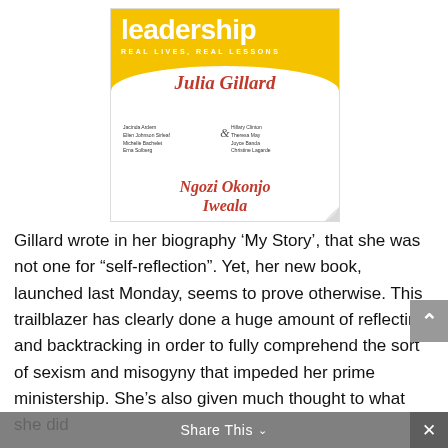[Figure (illustration): Book cover for 'Women and Leadership: Real Lives, Real Lessons' by Julia Gillard and Ngozi Okonjo Iweala. Yellow top portion with white text 'leadership' and subtitle 'REAL LIVES, REAL LESSONS'. White lower portion with red italic author names 'Julia Gillard' and 'Ngozi Okonjo Iweala' and small contributor names including Jacinda Ardern, Ellen Johnson Sirleaf, Michelle Bachelet, Erna Solberg, Hillary Clinton, Theresa May, Joyce Banda, Christine Lagarde.]
Gillard wrote in her biography ‘My Story’, that she was not one for “self-reflection”. Yet, her new book, launched last Monday, seems to prove otherwise. This trailblazer has clearly done a huge amount of reflecting and backtracking in order to fully comprehend the sort of sexism and misogyny that impeded her prime ministership. She's also given much thought to what she did
Share This